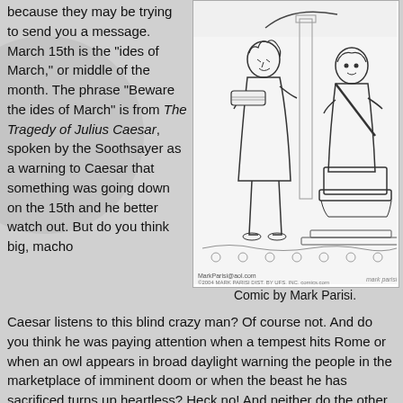because they may be trying to send you a message. March 15th is the "ides of March," or middle of the month. The phrase "Beware the ides of March" is from The Tragedy of Julius Caesar, spoken by the Soothsayer as a warning to Caesar that something was going down on the 15th and he better watch out. But do you think big, macho
[Figure (illustration): Black and white comic strip by Mark Parisi showing a Roman figure reading from a scroll to Julius Caesar seated on a throne.]
Comic by Mark Parisi.
Caesar listens to this blind crazy man? Of course not. And do you think he was paying attention when a tempest hits Rome or when an owl appears in broad daylight warning the people in the marketplace of imminent doom or when the beast he has sacrificed turns up heartless? Heck no! And neither do the other men in the play! For example, Casca sees these bad omens–the lion skulking past him in the street or the men in flames running through the streets of Rome–and Cassius assures him that those are just signs that they must kill Caesar, not that anything bad will happen